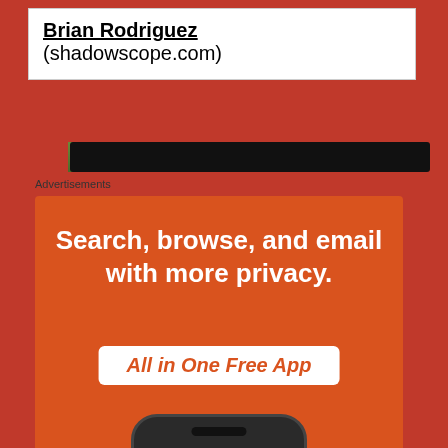Brian Rodriguez (shadowscope.com)
[Figure (screenshot): Navigation bar / browser chrome bar showing a dark strip with partial content]
Advertisements
[Figure (screenshot): DuckDuckGo advertisement banner with orange background showing text 'Search, browse, and email with more privacy.' and 'All in One Free App' on a white pill badge, with a phone showing the DuckDuckGo duck logo]
Privacy & Cookies: This site uses cookies. By continuing to use this website, you agree to their use.
To find out more, including how to control cookies, see here:
Cookie Policy
Close and accept